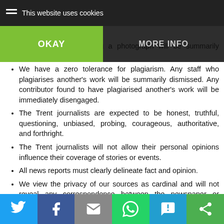This website uses cookies
writing a story or publishing a photograph will be summarily dismissed.
We have a zero tolerance for plagiarism. Any staff who plagiarises another's work will be summarily dismissed. Any contributor found to have plagiarised another's work will be immediately disengaged.
The Trent journalists are expected to be honest, truthful, questioning, unbiased, probing, courageous, authoritative, and forthright.
The Trent journalists will not allow their personal opinions influence their coverage of stories or events.
All news reports must clearly delineate fact and opinion.
We view the privacy of our sources as cardinal and will not reveal any correspondence between the newspaper or personal information we may have about our sources without their express permission or without a legal order to do so.
The content on The Trent is suitable for general audiences and